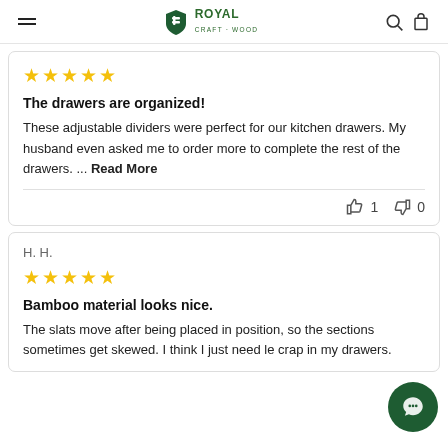ROYAL CRAFT WOOD
★★★★★
The drawers are organized!
These adjustable dividers were perfect for our kitchen drawers. My husband even asked me to order more to complete the rest of the drawers. ... Read More
👍 1  👎 0
H. H.
★★★★★
Bamboo material looks nice.
The slats move after being placed in position, so the sections sometimes get skewed. I think I just need le crap in my drawers.